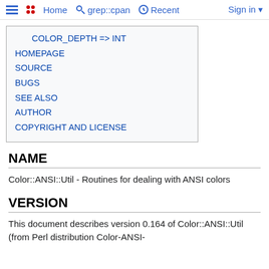☰ •• Home grep::cpan Recent Sign in
COLOR_DEPTH => INT
HOMEPAGE
SOURCE
BUGS
SEE ALSO
AUTHOR
COPYRIGHT AND LICENSE
NAME
Color::ANSI::Util - Routines for dealing with ANSI colors
VERSION
This document describes version 0.164 of Color::ANSI::Util (from Perl distribution Color-ANSI-